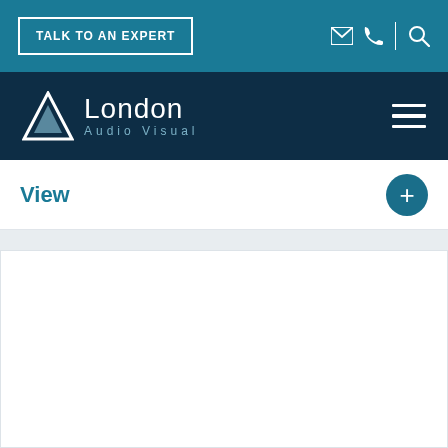TALK TO AN EXPERT
[Figure (logo): London Audio Visual logo with triangle icon and text]
View
[Figure (other): White content area below View section]